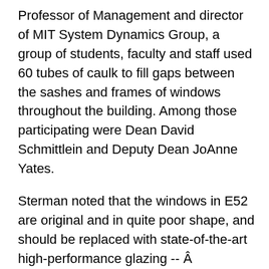Professor of Management and director of MIT System Dynamics Group, a group of students, faculty and staff used 60 tubes of caulk to fill gaps between the sashes and frames of windows throughout the building. Among those participating were Dean David Schmittlein and Deputy Dean JoAnne Yates.
Sterman noted that the windows in E52 are original and in quite poor shape, and should be replaced with state-of-the-art high-performance glazing -- Â something that likely won't happen until a full renovation of the building is done.
"In the meantime, caulking saves energy and also creates a great opportunity to involve the entire